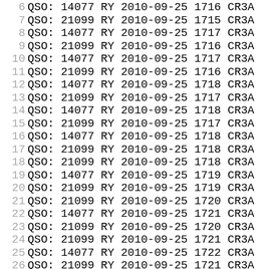6 QSO: 14077 RY 2010-09-25 1716 CR3A
7 QSO: 21099 RY 2010-09-25 1715 CR3A
8 QSO: 14077 RY 2010-09-25 1717 CR3A
9 QSO: 21099 RY 2010-09-25 1716 CR3A
10 QSO: 14077 RY 2010-09-25 1717 CR3A
11 QSO: 21099 RY 2010-09-25 1716 CR3A
12 QSO: 14077 RY 2010-09-25 1718 CR3A
13 QSO: 21099 RY 2010-09-25 1717 CR3A
14 QSO: 14077 RY 2010-09-25 1718 CR3A
15 QSO: 21099 RY 2010-09-25 1717 CR3A
16 QSO: 14077 RY 2010-09-25 1718 CR3A
17 QSO: 21099 RY 2010-09-25 1718 CR3A
18 QSO: 21099 RY 2010-09-25 1718 CR3A
19 QSO: 14077 RY 2010-09-25 1719 CR3A
20 QSO: 21099 RY 2010-09-25 1719 CR3A
21 QSO: 21099 RY 2010-09-25 1720 CR3A
22 QSO: 14077 RY 2010-09-25 1721 CR3A
23 QSO: 21099 RY 2010-09-25 1720 CR3A
24 QSO: 21099 RY 2010-09-25 1721 CR3A
25 QSO: 14077 RY 2010-09-25 1722 CR3A
26 QSO: 21099 RY 2010-09-25 1721 CR3A